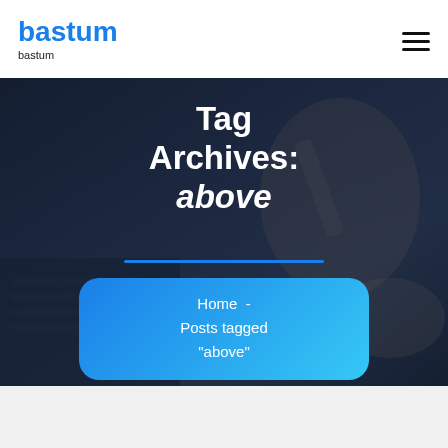bastum
bastum
Tag Archives: above
Home  -  Posts tagged "above"